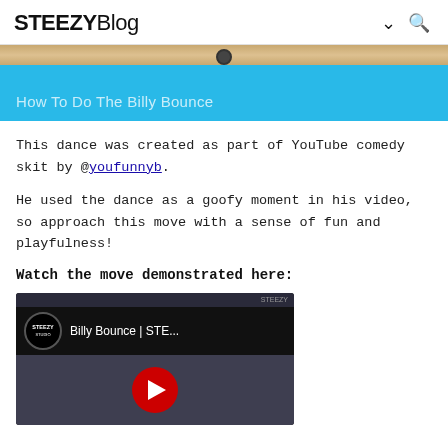STEEZYBlog
[Figure (screenshot): Hero banner with blue background showing a wooden floor/bar image at top and text 'How To Do The Billy Bounce' overlaid]
How To Do The Billy Bounce
This dance was created as part of YouTube comedy skit by @youfunnyb.
He used the dance as a goofy moment in his video, so approach this move with a sense of fun and playfulness!
Watch the move demonstrated here:
[Figure (screenshot): YouTube video thumbnail showing STEEZY logo and title 'Billy Bounce | STE...' with red play button]